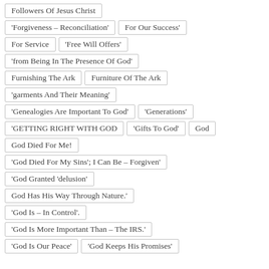Followers Of Jesus Christ
'Forgiveness – Reconciliation'
For Our Success'
For Service
'Free Will Offers'
'from Being In The Presence Of God'
Furnishing The Ark
Furniture Of The Ark
'garments And Their Meaning'
'Genealogies Are Important To God'
'Generations'
'GETTING RIGHT WITH GOD
'Gifts To God'
God
God Died For Me!
'God Died For My Sins'; I Can Be – Forgiven'
'God Granted 'delusion'
God Has His Way Through Nature.'
'God Is – In Control'.
'God Is More Important Than – The IRS.'
'God Is Our Peace'
'God Keeps His Promises'